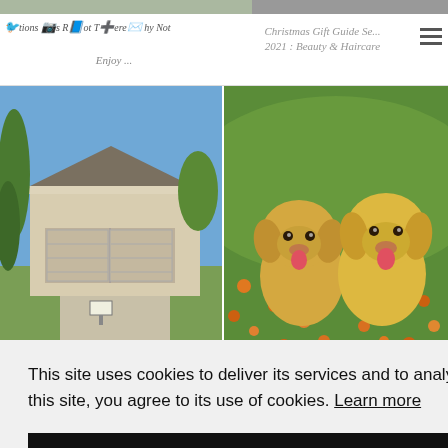[Figure (screenshot): Top navigation bar with a gray image strip at the very top]
Actuals R Out There Why Not Enjoy ... | Christmas Gift Guide Series 2021 : Beauty & Haircare
[Figure (photo): Left: Photo of a suburban house with garage and driveway, blue sky, green trees]
[Figure (photo): Right: Photo of two golden retriever puppies sitting in a field of orange flowers]
How To Guide On Moving Out & ...
Things you need to know when adopting ...
This site uses cookies to deliver its services and to analyse traffic. By using this site, you agree to its use of cookies. Learn more
OK
NAILS